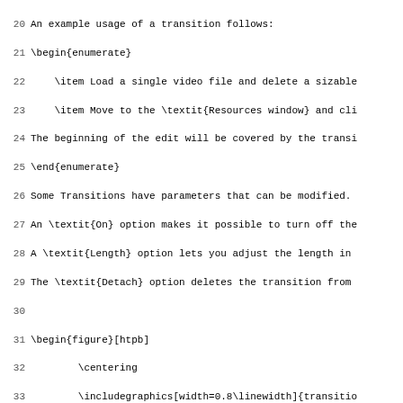Code listing showing LaTeX source lines 20–51 for a document about video transitions in a software application.